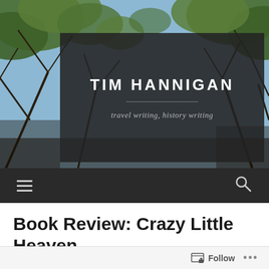[Figure (photo): Upward view through bare and budding tree branches against a blue sky, used as website header background image]
TIM HANNIGAN
travel writing, history writing
[Figure (infographic): Dark navigation bar with hamburger menu icon on the left and search icon on the right]
Book Review: Crazy Little Heaven
Follow  •••